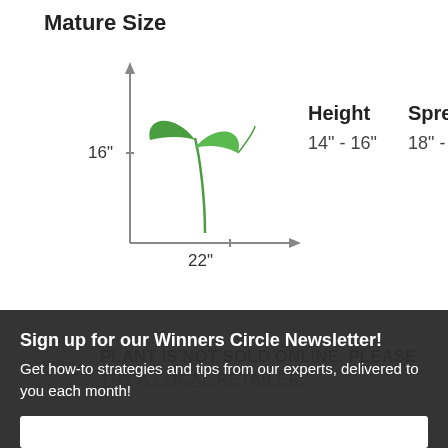Mature Size
[Figure (illustration): Diagram of a plant seedling with axes indicating 16 inches height and 22 inches spread]
Height
14" - 16"
Spread
18" - 22"
PLANT IS NOT SOLD ONLINE. PLEASE TRY A LOCAL RETAILER.
SET YOUR LOCATION TO SEE LOCAL AVAILABILITY
Sign up for our Winners Circle Newsletter! Get how-to strategies and tips from our experts, delivered to you each month!
Sign Up!
No, thanks
WE NEED YOUR LOCATION?